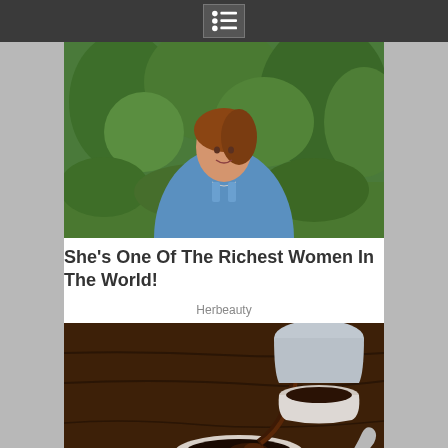Menu navigation bar
[Figure (photo): Young Asian woman in blue tank top standing outdoors among green trees and foliage, smiling at camera]
She's One Of The Richest Women In The World!
Herbeauty
[Figure (photo): Close-up of black coffee being poured into a white cup on a saucer with a spoon on a wooden table, with another cup in the background]